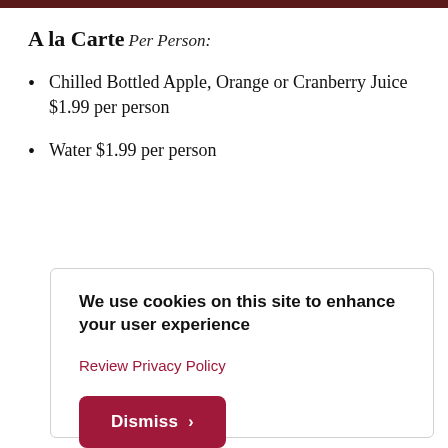A la Carte
Per Person:
Chilled Bottled Apple, Orange or Cranberry Juice $1.99 per person
Water $1.99 per person
We use cookies on this site to enhance your user experience
Review Privacy Policy
Dismiss >